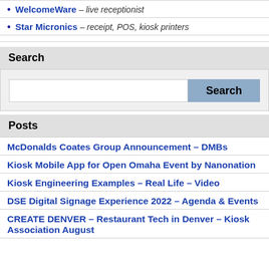WelcomeWare – live receptionist
Star Micronics – receipt, POS, kiosk printers
Search
[Figure (screenshot): Search input box with a Search button]
Posts
McDonalds Coates Group Announcement – DMBs
Kiosk Mobile App for Open Omaha Event by Nanonation
Kiosk Engineering Examples – Real Life – Video
DSE Digital Signage Experience 2022 – Agenda & Events
CREATE DENVER – Restaurant Tech in Denver – Kiosk Association August